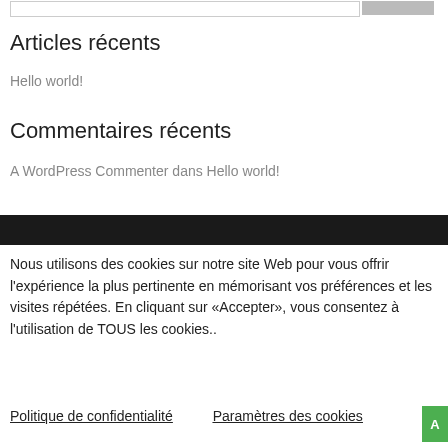Articles récents
Hello world!
Commentaires récents
A WordPress Commenter dans Hello world!
Nous utilisons des cookies sur notre site Web pour vous offrir l'expérience la plus pertinente en mémorisant vos préférences et les visites répétées. En cliquant sur «Accepter», vous consentez à l'utilisation de TOUS les cookies..
Politique de confidentialité   Paramètres des cookies